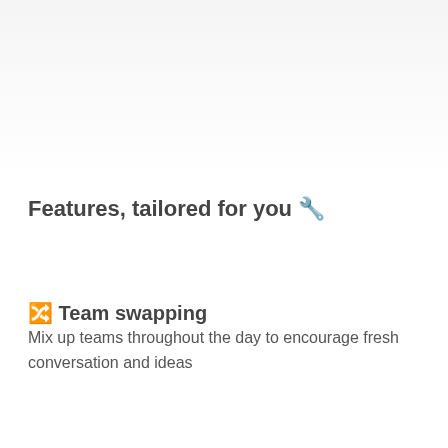Features, tailored for you 🔧
🔀 Team swapping
Mix up teams throughout the day to encourage fresh conversation and ideas